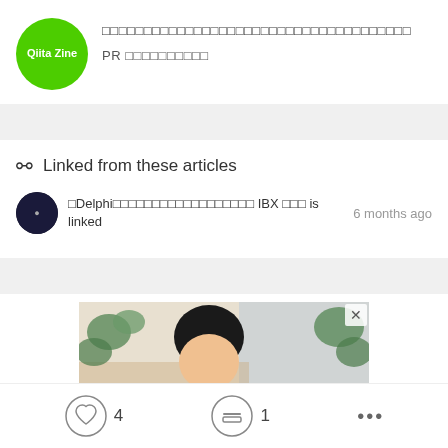[Figure (logo): Green circular avatar with white text 'Qiita Zine']
□□□□□□□□□□□□□□□□□□□□□□□□□□□□□□□□□□□□□
PR □□□□□□□□□□
Linked from these articles
[Figure (logo): Small circular avatar with dark background]
□Delphi□□□□□□□□□□□□□□□□□□ IBX □□□ is linked   6 months ago
[Figure (photo): Advertisement photo showing a woman with dark hair and plants in background]
4
1